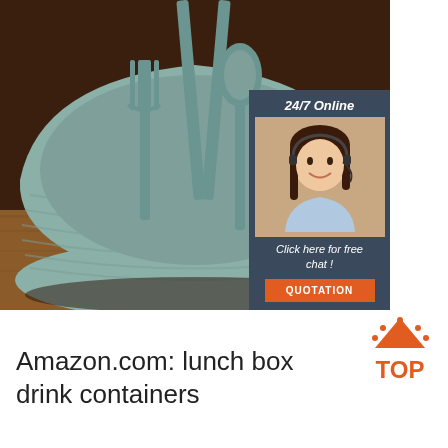[Figure (photo): A sage/teal colored bowl with fork, spoon, and chopsticks inside, displayed on a wooden table surface with dark brown background. Overlaid with a 24/7 online chat advertisement box featuring a smiling woman with headset, 'Click here for free chat!' text, and an orange QUOTATION button.]
[Figure (logo): TOP logo with orange tent/arrow icon and red dot decorations above the word TOP in orange bold text]
Amazon.com: lunch box drink containers